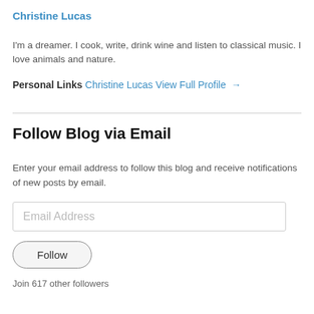Christine Lucas
I'm a dreamer. I cook, write, drink wine and listen to classical music. I love animals and nature.
Personal Links
Christine Lucas
View Full Profile →
Follow Blog via Email
Enter your email address to follow this blog and receive notifications of new posts by email.
Email Address
Follow
Join 617 other followers